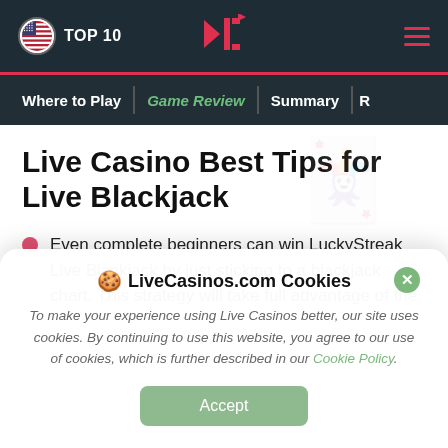TOP 10 | CL logo | hamburger menu
Where to Play | Game Review | Summary | R
Live Casino Best Tips for Live Blackjack
Even complete beginners can win LuckyStreak Live Blackjack by just sticking to a blackjack chart. This strategy will take full advantage of the
LiveCasinos.com Cookies
To make your experience using Live Casinos better, our site uses cookies. By continuing to use this website, you agree to our use of cookies, which is further described in our Cookie Policy.
Accept